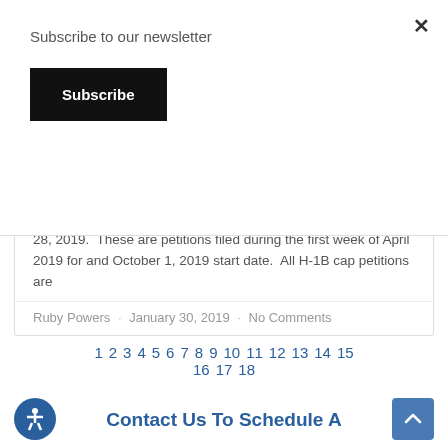Subscribe to our newsletter
Subscribe
processing service for all FY 2019 H-1B cap, effective January 28, 2019.  These are petitions filed during the first week of April 2019 for and October 1, 2019 start date.  All H-1B cap petitions are
Ruby Powers · January 30, 2019 · No Comments
1 2 3 4 5 6 7 8 9 10 11 12 13 14 15 16 17 18
Contact Us To Schedule A